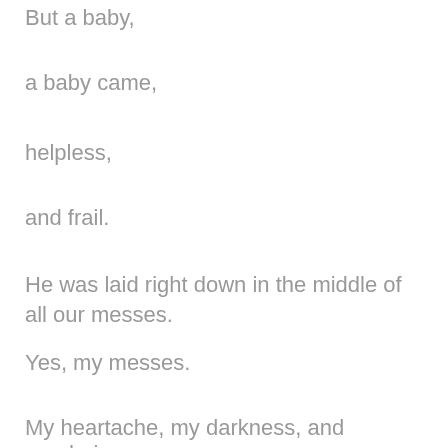But a baby,
a baby came,
helpless,
and frail.
He was laid right down in the middle of all our messes.
Yes, my messes.
My heartache, my darkness, and pondering.